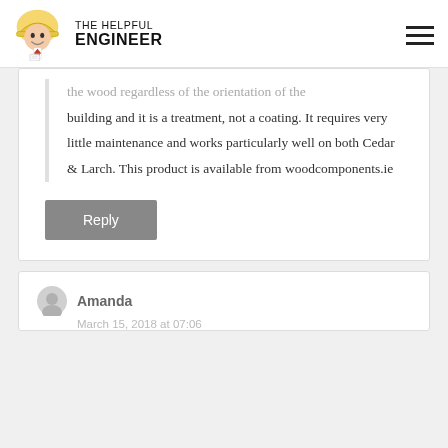THE HELPFUL ENGINEER
the wood regardless of the orientation of the building and it is a treatment, not a coating. It requires very little maintenance and works particularly well on both Cedar & Larch. This product is available from woodcomponents.ie
Reply
Amanda
March 15, 2018 at 07:06